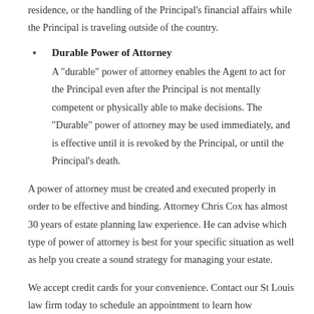residence, or the handling of the Principal's financial affairs while the Principal is traveling outside of the country.
Durable Power of Attorney
A "durable" power of attorney enables the Agent to act for the Principal even after the Principal is not mentally competent or physically able to make decisions. The "Durable" power of attorney may be used immediately, and is effective until it is revoked by the Principal, or until the Principal's death.
A power of attorney must be created and executed properly in order to be effective and binding. Attorney Chris Cox has almost 30 years of estate planning law experience. He can advise which type of power of attorney is best for your specific situation as well as help you create a sound strategy for managing your estate.
We accept credit cards for your convenience. Contact our St Louis law firm today to schedule an appointment to learn how